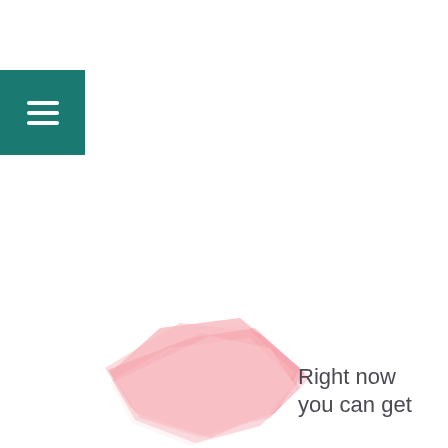[Figure (other): Teal/green hamburger menu button in top-left area]
[Figure (illustration): Pink ribbon or abstract pink crystal/bow shape in lower-center area]
Right now you can get